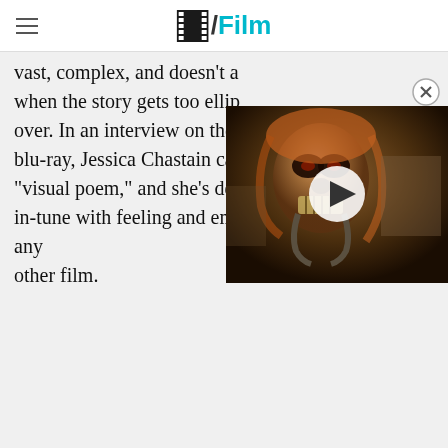/Film
vast, complex, and doesn't a when the story gets too ellip over. In an interview on the blu-ray, Jessica Chastain ca "visual poem," and she's dead-on. The film is more in-tune with feeling and emotion than practically any other film.
[Figure (screenshot): Video thumbnail of a masked/face-painted figure from what appears to be Mad Max: Fury Road, with a play button overlay]